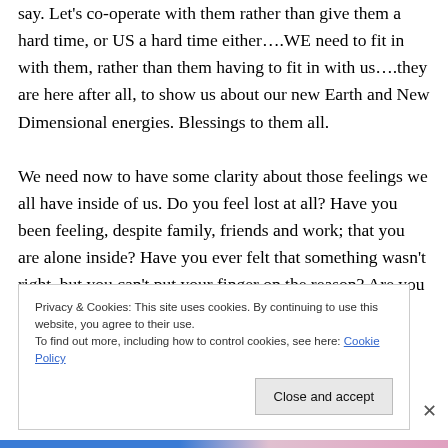say. Let's co-operate with them rather than give them a hard time, or US a hard time either….WE need to fit in with them, rather than them having to fit in with us….they are here after all, to show us about our new Earth and New Dimensional energies. Blessings to them all.

We need now to have some clarity about those feelings we all have inside of us. Do you feel lost at all? Have you been feeling, despite family, friends and work; that you are alone inside? Have you ever felt that something wasn't right, but you can't put your finger on the reason? Are you
Privacy & Cookies: This site uses cookies. By continuing to use this website, you agree to their use.
To find out more, including how to control cookies, see here: Cookie Policy
Close and accept